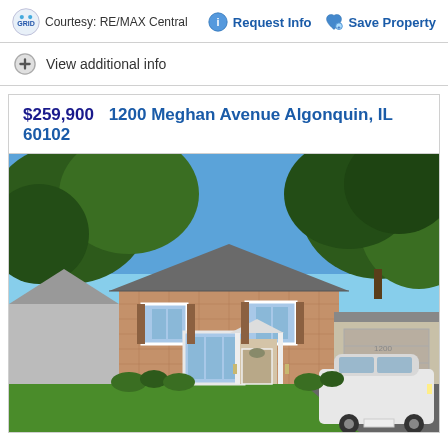Courtesy: RE/MAX Central
Request Info
Save Property
View additional info
$259,900  1200 Meghan Avenue Algonquin, IL 60102
[Figure (photo): Two-story brick colonial house with attached two-car garage, green lawn, large trees, and a white SUV parked in the driveway. Address: 1200 Meghan Avenue, Algonquin, IL 60102.]